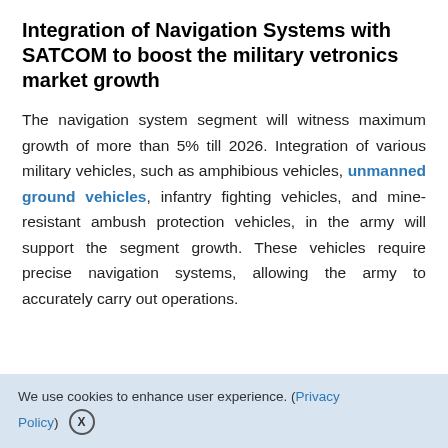Integration of Navigation Systems with SATCOM to boost the military vetronics market growth
The navigation system segment will witness maximum growth of more than 5% till 2026. Integration of various military vehicles, such as amphibious vehicles, unmanned ground vehicles, infantry fighting vehicles, and mine-resistant ambush protection vehicles, in the army will support the segment growth. These vehicles require precise navigation systems, allowing the army to accurately carry out operations.
We use cookies to enhance user experience. (Privacy Policy) X